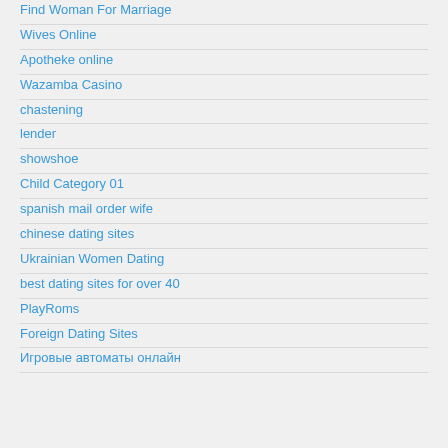Find Woman For Marriage
Wives Online
Apotheke online
Wazamba Casino
chastening
lender
showshoe
Child Category 01
spanish mail order wife
chinese dating sites
Ukrainian Women Dating
best dating sites for over 40
PlayRoms
Foreign Dating Sites
Игровые автоматы онлайн